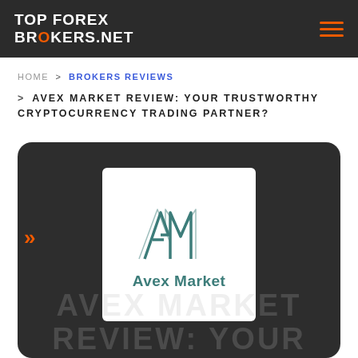TOP FOREX BROKERS.NET
HOME > BROKERS REVIEWS
> AVEX MARKET REVIEW: YOUR TRUSTWORTHY CRYPTOCURRENCY TRADING PARTNER?
[Figure (logo): Avex Market broker logo with stylized AM lettermark in teal on white background, with text 'Avex Market']
AVEX MARKET REVIEW: YOUR